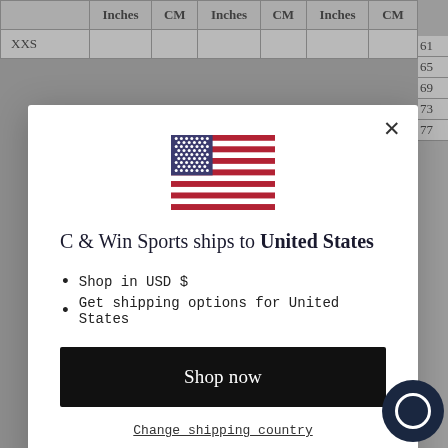|  | Inches | CM | Inches | CM | Inches | CM |
| --- | --- | --- | --- | --- | --- | --- |
| XXS |  |  |  |  |  |  |
[Figure (illustration): US flag SVG icon centered above modal heading]
C & Win Sports ships to United States
Shop in USD $
Get shipping options for United States
Shop now
Change shipping country